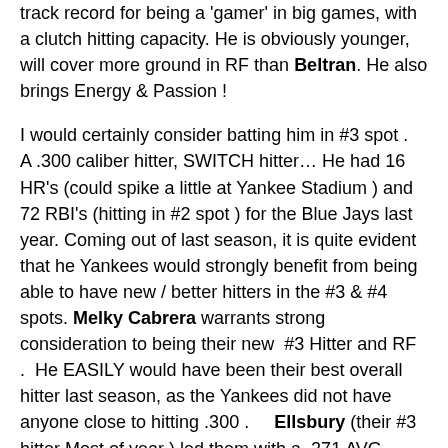track record for being a 'gamer' in big games, with a clutch hitting capacity. He is obviously younger, will cover more ground in RF than Beltran. He also brings Energy & Passion !
I would certainly consider batting him in #3 spot . A .300 caliber hitter, SWITCH hitter… He had 16 HR's (could spike a little at Yankee Stadium ) and 72 RBI's (hitting in #2 spot ) for the Blue Jays last year. Coming out of last season, it is quite evident that he Yankees would strongly benefit from being able to have new / better hitters in the #3 & #4 spots. Melky Cabrera warrants strong consideration to being their new #3 Hitter and RF . He EASILY would have been their best overall hitter last season, as the Yankees did not have anyone close to hitting .300 . Ellsbury (their #3 hitter Most of year ) led them with a .271 AVG. Melky was literally 30 points better than that, which would translate to to more RBI's …especially if Ellsbury returns to Lead off spot where he belongs, thrives . Brian McCann (batting in middle of lineup ) led the team with 75 RBI's. Melky finished with 73